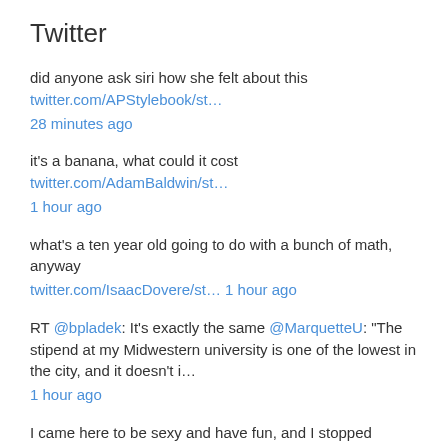Twitter
did anyone ask siri how she felt about this twitter.com/APStylebook/st… 28 minutes ago
it's a banana, what could it cost twitter.com/AdamBaldwin/st… 1 hour ago
what's a ten year old going to do with a bunch of math, anyway twitter.com/IsaacDovere/st… 1 hour ago
RT @bpladek: It's exactly the same @MarquetteU: "The stipend at my Midwestern university is one of the lowest in the city, and it doesn't i… 1 hour ago
I came here to be sexy and have fun, and I stopped having fun a long time ago twitter.com/GShaneMorris/s… 1 hour ago
tired: destroying my career by shitposting wired: destroying my credit AND my career by shitposting 1 hour ago